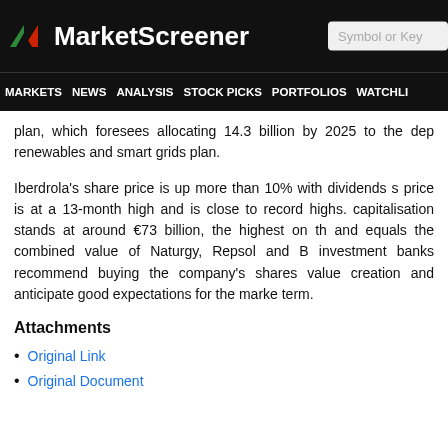MarketScreener | Symbol or Key
MARKETS NEWS ANALYSIS STOCK PICKS PORTFOLIOS WATCHLI
plan, which foresees allocating 14.3 billion by 2025 to the dep renewables and smart grids plan.
Iberdrola's share price is up more than 10% with dividends s price is at a 13-month high and is close to record highs. capitalisation stands at around €73 billion, the highest on th and equals the combined value of Naturgy, Repsol and B investment banks recommend buying the company's shares value creation and anticipate good expectations for the marke term.
Attachments
Original Link
Original Document